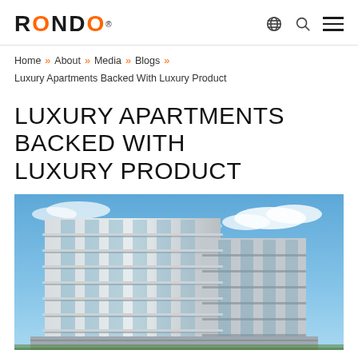RONDO — navigation header with globe, search, and menu icons
Home » About » Media » Blogs » Luxury Apartments Backed With Luxury Product
LUXURY APARTMENTS BACKED WITH LUXURY PRODUCT
[Figure (photo): Exterior photograph of a modern multi-storey luxury apartment building with curved balconies and glass facade against a blue sky with clouds.]